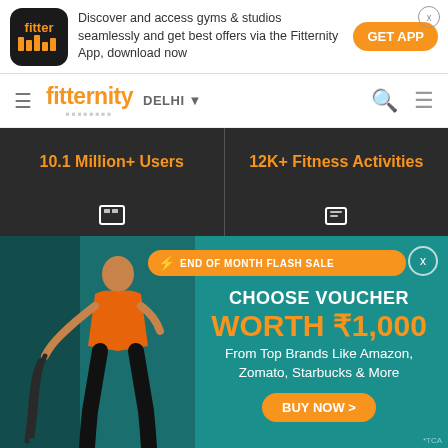[Figure (screenshot): Top app download banner with Fitter app icon, text about discovering gyms and studios, and orange GET APP button with X close button]
[Figure (screenshot): Fitternity navigation bar with hamburger menu, fitternity logo in orange, DELHI city selector with dropdown, search icon, and filter icon]
10.1 Million+ Users
12K+ Fitness Activities
[Figure (screenshot): Partial icon row on dark background showing gym/activity category icons]
[Figure (infographic): End of Month Flash Sale promotional banner with athlete doing battle ropes on teal background. Shows CHOOSE VOUCHER WORTH ₹1,000 From Top Brands Like Amazon, Zomato, Starbucks & More with BUY NOW button. Orange flash sale badge at top. Close X button at top right. *TCA note at bottom right.]